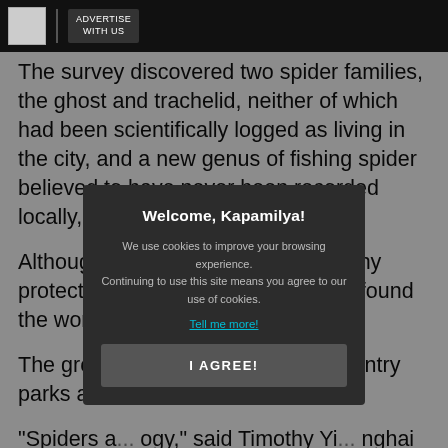[Figure (logo): Black top navigation bar with a small gray logo/image placeholder on the left, a vertical divider, and an 'ADVERTISE WITH US' button]
The survey discovered two spider families, the ghost and trachelid, neither of which had been scientifically logged as living in the city, and a new genus of fishing spider believed to have never been recorded locally, the group said.
Although the study did not identify any protected spider species, the group found the world's first species th[...]
The group [...] species were as di[...] ountry parks as th[...]
"Spiders a[...] ogy," said Timothy Yi[...] nghai University's department of life sciences in Taiwan. "Their presence reflects the diversity of the local ecology because of their high requirements on the
[Figure (screenshot): Cookie consent modal dialog with dark background overlay. Title: 'Welcome, Kapamilya!'. Body text: 'We use cookies to improve your browsing experience. Continuing to use this site means you agree to our use of cookies.' Link: 'Tell me more!' Button: 'I AGREE!']